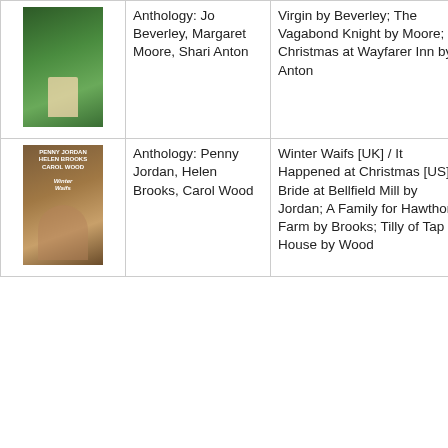| Cover | Authors | Stories | Year | Month | Publisher/Notes |
| --- | --- | --- | --- | --- | --- |
| [book cover] | Anthology: Jo Beverley, Margaret Moore, Shari Anton | Virgin by Beverley; The Vagabond Knight by Moore; Christmas at Wayfarer Inn by Anton | 2006 | November | S... H... s... P... |
| [book cover] | Anthology: Penny Jordan, Helen Brooks, Carol Wood | Winter Waifs [UK] / It Happened at Christmas [US]: Bride at Bellfield Mill by Jordan; A Family for Hawthorn Farm by Brooks; Tilly of Tap House by Wood | 2007 | October | S... P... |